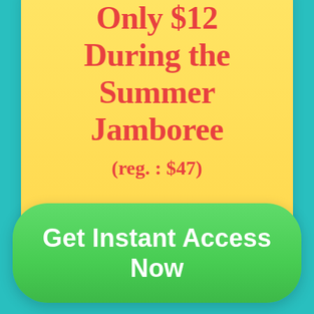Only $12 During the Summer Jamboree
(reg. : $47)
Get Instant Access Now